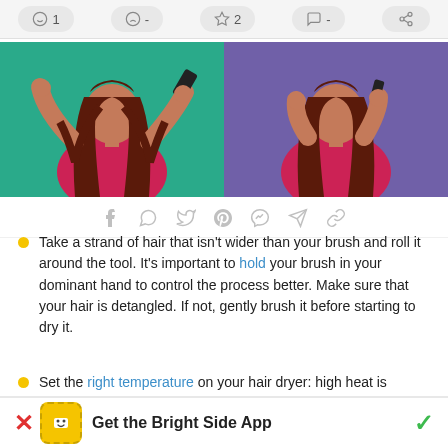[Figure (screenshot): Top reaction/action bar with emoji icons: smiley face 1, sad face -, star 2, chat -, share]
[Figure (illustration): Two side-by-side illustration panels: left shows a woman in red top with teal background brushing her hair, right shows a woman in red top with purple background brushing her hair]
[Figure (infographic): Social media share icons row: Facebook, WhatsApp, Twitter, Pinterest, Messenger, Telegram, link]
Take a strand of hair that isn’t wider than your brush and roll it around the tool. It’s important to hold your brush in your dominant hand to control the process better. Make sure that your hair is detangled. If not, gently brush it before starting to dry it.
Set the right temperature on your hair dryer: high heat is perfect for creating the shape of your hairstyle
Get the Bright Side App